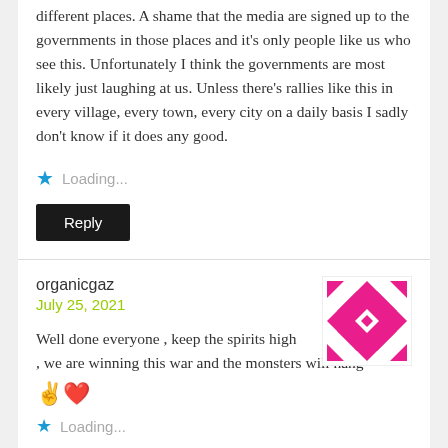different places. A shame that the media are signed up to the governments in those places and it's only people like us who see this. Unfortunately I think the governments are most likely just laughing at us. Unless there's rallies like this in every village, every town, every city on a daily basis I sadly don't know if it does any good.
★ Loading...
Reply
organicgaz
July 25, 2021
[Figure (illustration): Geometric avatar with pink/magenta diamond and arrow pattern on white background]
Well done everyone , keep the spirits high , we are winning this war and the monsters will hang
✌️❤️
★ Loading...